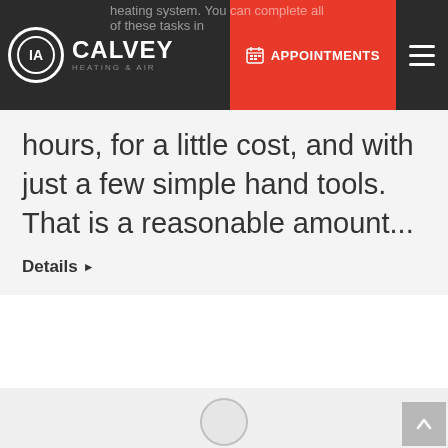Calvey Heating & Air — Navigation bar with APPOINTMENTS button
heating system. You can complete all of these tasks in hours, for a little cost, and with just a few simple hand tools. That is a reasonable amount...
Details ▶
[Figure (other): Empty light gray content area below the article card, with a circle element at the bottom center and a scroll-to-top arrow button at the bottom right]